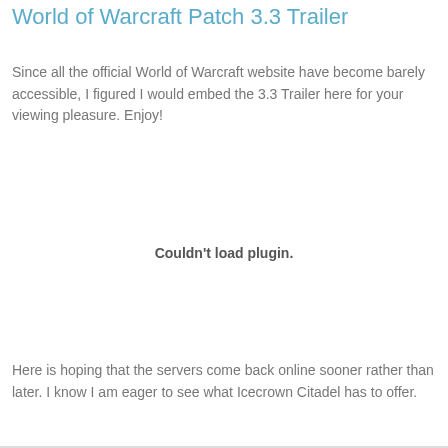World of Warcraft Patch 3.3 Trailer
Since all the official World of Warcraft website have become barely accessible, I figured I would embed the 3.3 Trailer here for your viewing pleasure. Enjoy!
[Figure (other): Embedded video plugin area showing 'Couldn't load plugin.' message]
Here is hoping that the servers come back online sooner rather than later. I know I am eager to see what Icecrown Citadel has to offer.